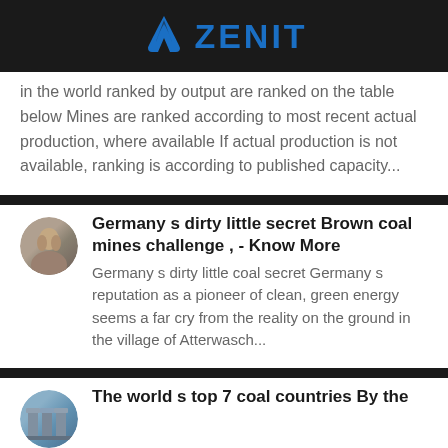ZENIT
in the world ranked by output are ranked on the table below Mines are ranked according to most recent actual production, where available If actual production is not available, ranking is according to published capacity...
[Figure (photo): Small circular thumbnail photo of a person]
Germany s dirty little secret Brown coal mines challenge , - Know More
Germany s dirty little coal secret Germany s reputation as a pioneer of clean, green energy seems a far cry from the reality on the ground in the village of Atterwasch...
[Figure (photo): Small circular thumbnail photo of a building/industrial structure]
The world s top 7 coal countries By the